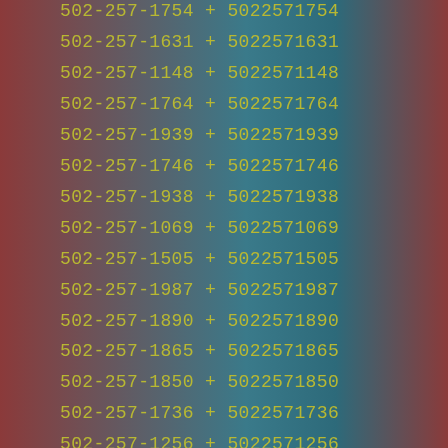502-257-1754 + 5022571754
502-257-1631 + 5022571631
502-257-1148 + 5022571148
502-257-1764 + 5022571764
502-257-1939 + 5022571939
502-257-1746 + 5022571746
502-257-1938 + 5022571938
502-257-1069 + 5022571069
502-257-1505 + 5022571505
502-257-1987 + 5022571987
502-257-1890 + 5022571890
502-257-1865 + 5022571865
502-257-1850 + 5022571850
502-257-1736 + 5022571736
502-257-1256 + 5022571256
502-257-1848 + 5022571848
502-257-1385 + 5022571385
502-257-1507 + 5022571507
502-257-1901 + 5022571901
502-257-1413 + 5022571413
502-257-1529 + 5022571529
502-257-1543 + 5022571543
502-257-1965 + 5022571965